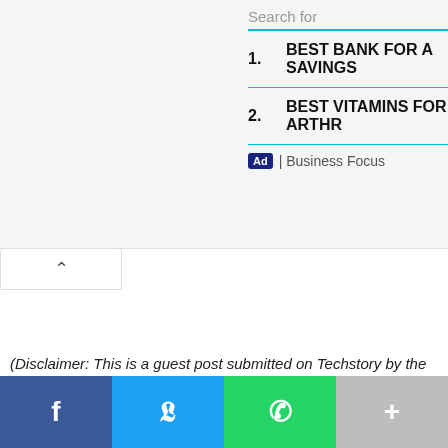Search for
1. BEST BANK FOR A SAVINGS
2. BEST VITAMINS FOR ARTHR
Ad | Business Focus
(Disclaimer: This is a guest post submitted on Techstory by the
[Figure (other): Social share bar with Facebook, Twitter, WhatsApp, and more (+) buttons]